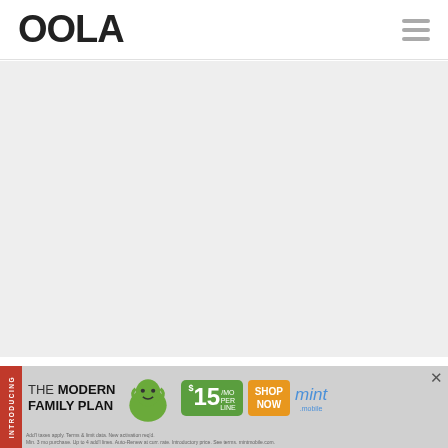OOLA
[Figure (photo): Large gray placeholder image area below the header]
If I wasn't nervous before with my 6
[Figure (infographic): Mint Mobile advertisement banner: THE MODERN FAMILY PLAN, FROM $15/MO PER LINE, SHOP NOW]